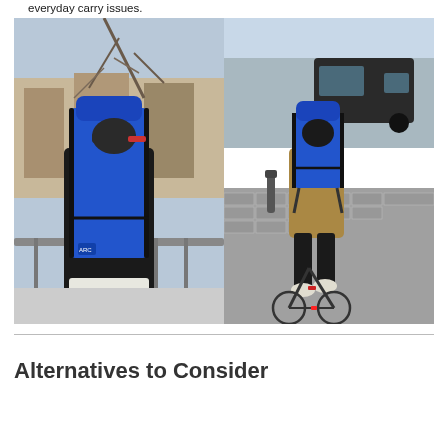everyday carry issues.
[Figure (photo): Two side-by-side photos of people wearing blue roll-top backpacks in an urban setting. Left photo shows a person from behind looking down over a railing with bare trees and city buildings in the background. Right photo shows a person riding a bicycle away from camera on a brick street with a van in the background, also wearing the same style blue backpack.]
Alternatives to Consider